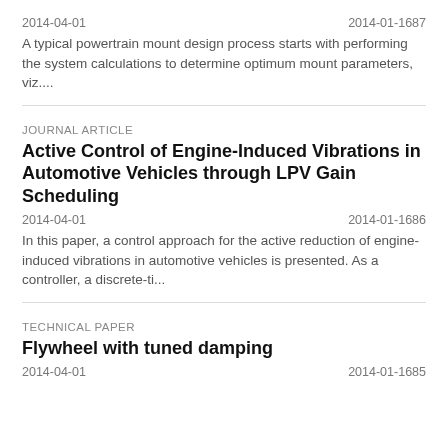2014-04-01    2014-01-1687
A typical powertrain mount design process starts with performing the system calculations to determine optimum mount parameters, viz....
JOURNAL ARTICLE
Active Control of Engine-Induced Vibrations in Automotive Vehicles through LPV Gain Scheduling
2014-04-01    2014-01-1686
In this paper, a control approach for the active reduction of engine-induced vibrations in automotive vehicles is presented. As a controller, a discrete-ti...
TECHNICAL PAPER
Flywheel with tuned damping
2014-04-01    2014-01-1685